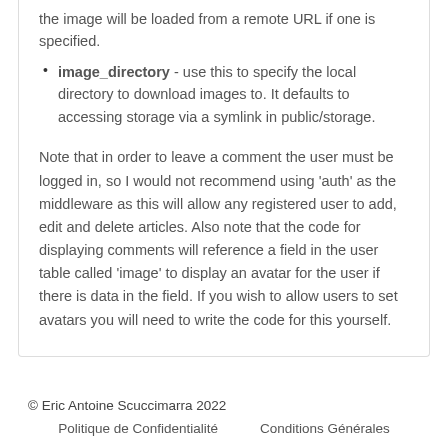the image will be loaded from a remote URL if one is specified.
image_directory - use this to specify the local directory to download images to. It defaults to accessing storage via a symlink in public/storage.
Note that in order to leave a comment the user must be logged in, so I would not recommend using 'auth' as the middleware as this will allow any registered user to add, edit and delete articles. Also note that the code for displaying comments will reference a field in the user table called 'image' to display an avatar for the user if there is data in the field. If you wish to allow users to set avatars you will need to write the code for this yourself.
© Eric Antoine Scuccimarra 2022
Politique de Confidentialité   Conditions Générales